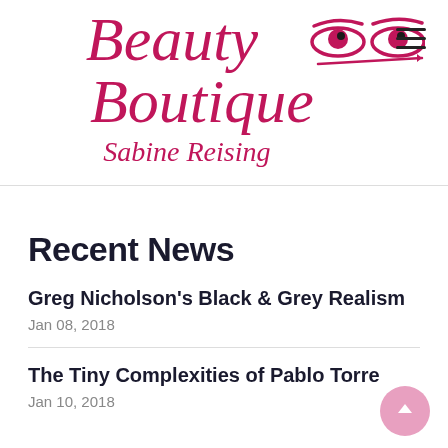[Figure (logo): Beauty Boutique Sabine Reising logo in magenta/crimson cursive script with two stylized eyes above the text]
Recent News
Greg Nicholson's Black & Grey Realism
Jan 08, 2018
The Tiny Complexities of Pablo Torre
Jan 10, 2018